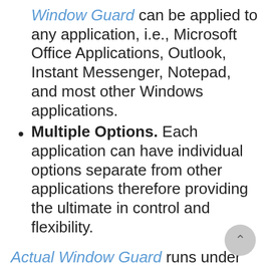Window Guard can be applied to any application, i.e., Microsoft Office Applications, Outlook, Instant Messenger, Notepad, and most other Windows applications.
Multiple Options. Each application can have individual options separate from other applications therefore providing the ultimate in control and flexibility.
Actual Window Guard runs under Windows 95/98/Me/NT4/2000/XP, costs $19.95(US), and may be purchased securely online at http://www.ActualTools.com/